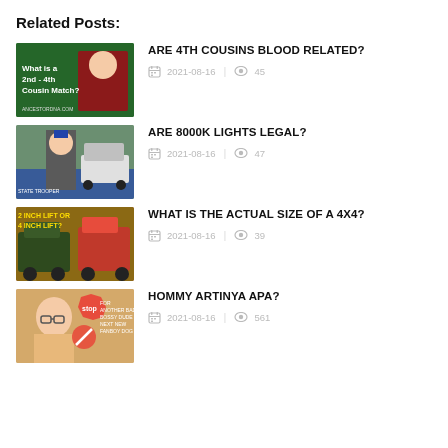Related Posts:
ARE 4TH COUSINS BLOOD RELATED?
2021-08-16  45
ARE 8000K LIGHTS LEGAL?
2021-08-16  47
WHAT IS THE ACTUAL SIZE OF A 4X4?
2021-08-16  39
HOMMY ARTINYA APA?
2021-08-16  561